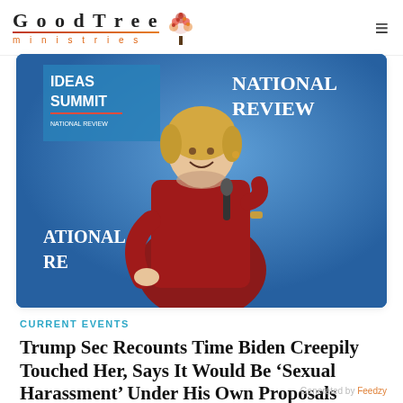[Figure (logo): GoodTree Ministries logo with stylized tree icon and text]
[Figure (photo): Woman with blonde hair in red dress holding a microphone at a National Review Ideas Summit event, speaking on stage]
CURRENT EVENTS
Trump Sec Recounts Time Biden Creepily Touched Her, Says It Would Be ‘Sexual Harassment’ Under His Own Proposals
Generated by Feedzy